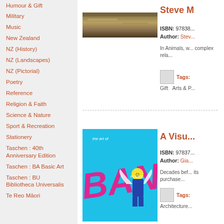Humour & Gift
Military
Music
New Zealand
NZ (History)
NZ (Landscapes)
NZ (Pictorial)
Poetry
Reference
Religion & Faith
Science & Nature
Sport & Recreation
Stationery
Taschen : 40th Anniversary Edition
Taschen : BA Basic Art
Taschen : BU Bibliotheca Universalis
Te Reo Māori
[Figure (photo): Book cover thumbnail - Steve M, partially visible]
Steve M
ISBN: 97838...
Author: Stev...
In Animals, w... complex rela...
Tags: Gift  Arts & P...
[Figure (photo): Book cover - The Art of Banksy, blue background with pink graffiti text and police figure with smiley face]
A Visu...
ISBN: 97837...
Author: Gia...
Decades bef... its purchase...
Tags: Architecture...